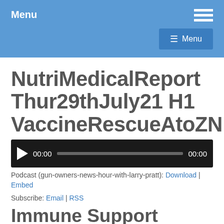Menu
NutriMedicalReport Thur29thJuly21 H1 VaccineRescueAtoZN
[Figure (other): Audio player with play button, 00:00 start time, progress bar, and 00:00 end time on dark background]
Podcast (gun-owners-news-hour-with-larry-pratt): Download | Embed
Subscribe: Email | RSS
Immune Support Protocols Vaccine Rescue A to Z